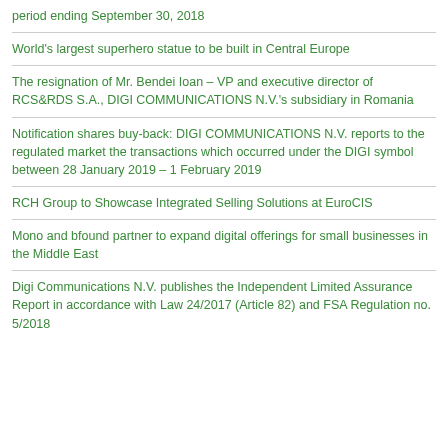period ending September 30, 2018
World's largest superhero statue to be built in Central Europe
The resignation of Mr. Bendei Ioan – VP and executive director of RCS&RDS S.A., DIGI COMMUNICATIONS N.V.'s subsidiary in Romania
Notification shares buy-back: DIGI COMMUNICATIONS N.V. reports to the regulated market the transactions which occurred under the DIGI symbol between 28 January 2019 – 1 February 2019
RCH Group to Showcase Integrated Selling Solutions at EuroCIS
Mono and bfound partner to expand digital offerings for small businesses in the Middle East
Digi Communications N.V. publishes the Independent Limited Assurance Report in accordance with Law 24/2017 (Article 82) and FSA Regulation no. 5/2018